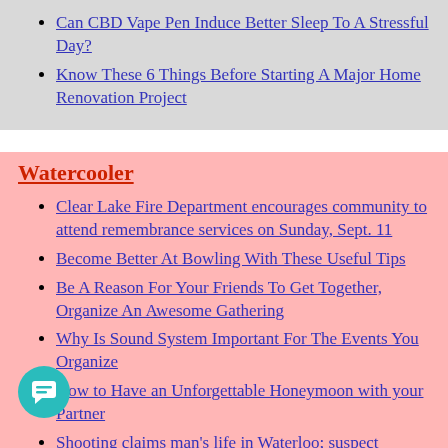Can CBD Vape Pen Induce Better Sleep To A Stressful Day?
Know These 6 Things Before Starting A Major Home Renovation Project
Watercooler
Clear Lake Fire Department encourages community to attend remembrance services on Sunday, Sept. 11
Become Better At Bowling With These Useful Tips
Be A Reason For Your Friends To Get Together, Organize An Awesome Gathering
Why Is Sound System Important For The Events You Organize
How to Have an Unforgettable Honeymoon with your Partner
Shooting claims man's life in Waterloo; suspect charged with murder